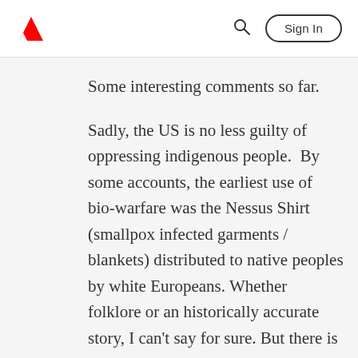Adobe [logo] [Search icon] Sign In
Some interesting comments so far.
Sadly, the US is no less guilty of oppressing indigenous people.  By some accounts, the earliest use of bio-warfare was the Nessus Shirt (smallpox infected garments / blankets) distributed to native peoples by white Europeans. Whether folklore or an historically accurate story, I can't say for sure. But there is no doubt that our ancestors knowingly committed terrible acts against native people for